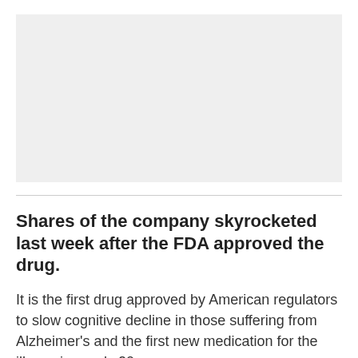[Figure (photo): Image placeholder / photograph area at top of article]
Shares of the company skyrocketed last week after the FDA approved the drug.
It is the first drug approved by American regulators to slow cognitive decline in those suffering from Alzheimer's and the first new medication for the illness in nearly 20 years.
Aduhelm attacks a “sticky” compound in the brain called beta-amyloid, which experts believe plays a key role in combating the